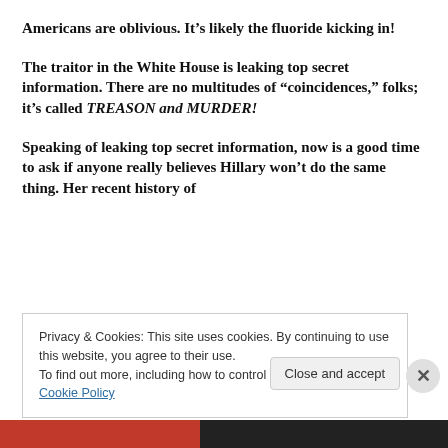Americans are oblivious. It’s likely the fluoride kicking in!
The traitor in the White House is leaking top secret information. There are no multitudes of “coincidences,” folks; it’s called TREASON and MURDER!
Speaking of leaking top secret information, now is a good time to ask if anyone really believes Hillary won’t do the same thing. Her recent history of
Privacy & Cookies: This site uses cookies. By continuing to use this website, you agree to their use.
To find out more, including how to control cookies, see here: Cookie Policy